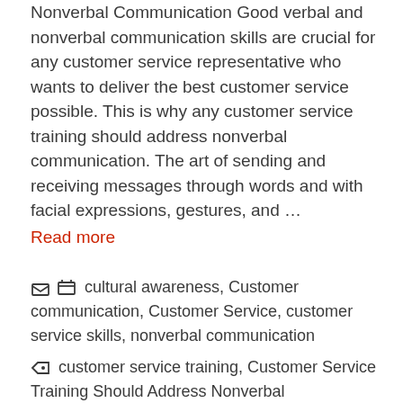Nonverbal Communication Good verbal and nonverbal communication skills are crucial for any customer service representative who wants to deliver the best customer service possible. This is why any customer service training should address nonverbal communication. The art of sending and receiving messages through words and with facial expressions, gestures, and … Read more
cultural awareness, Customer communication, Customer Service, customer service skills, nonverbal communication
customer service training, Customer Service Training Should Address Nonverbal Communication, nonverbal communication,